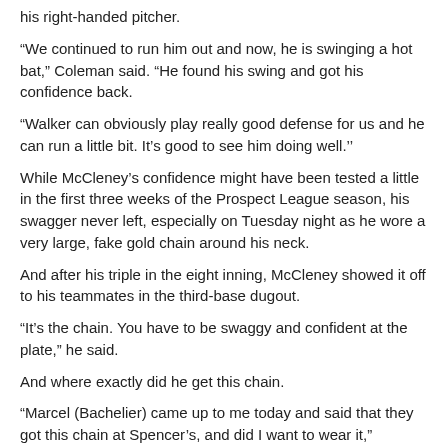his right-handed pitcher.
“We continued to run him out and now, he is swinging a hot bat,” Coleman said. “He found his swing and got his confidence back.
“Walker can obviously play really good defense for us and he can run a little bit. It’s good to see him doing well.’’
While McCleney’s confidence might have been tested a little in the first three weeks of the Prospect League season, his swagger never left, especially on Tuesday night as he wore a very large, fake gold chain around his neck.
And after his triple in the eight inning, McCleney showed it off to his teammates in the third-base dugout.
“It’s the chain. You have to be swaggy and confident at the plate,” he said.
And where exactly did he get this chain.
“Marcel (Bachelier) came up to me today and said that they got this chain at Spencer’s, and did I want to wear it,” McCleney said. “I definitely was going to wear it.
“My neck is turning green. It’s definitely not real, but it is heavy.’’
But, neither the chain nor an early-season hitting slump was going to force McCleney into lowering his head.
“It was tough and it gets into your head a little bit, but you can’t